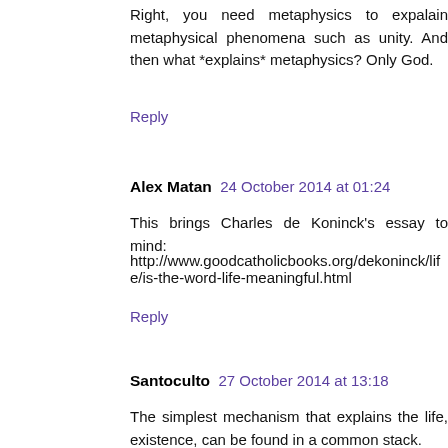Right, you need metaphysics to expalain metaphysical phenomena such as unity. And then what *explains* metaphysics? Only God.
Reply
Alex Matan  24 October 2014 at 01:24
This brings Charles de Koninck's essay to mind:
http://www.goodcatholicbooks.org/dekoninck/life/is-the-word-life-meaningful.html
Reply
Santoculto  27 October 2014 at 13:18
The simplest mechanism that explains the life, existence, can be found in a common stack.
Life is an infection of inertia.
We are the mutation of 'nothing'.